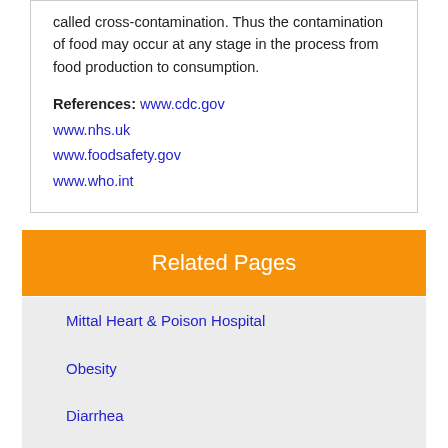called cross-contamination. Thus the contamination of food may occur at any stage in the process from food production to consumption.
References: www.cdc.gov
www.nhs.uk
www.foodsafety.gov
www.who.int
Related Pages
Mittal Heart & Poison Hospital
Obesity
Diarrhea
NDMC Shishu Kalyan Kendra
Satya Bhama Hospital